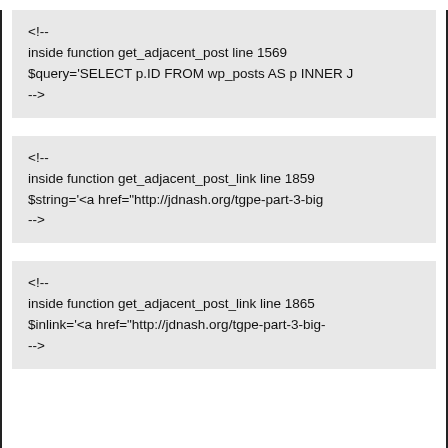<!--
inside function get_adjacent_post line 1569
$query='SELECT p.ID FROM wp_posts AS p INNER J
-->
<!--
inside function get_adjacent_post_link line 1859
$string='<a href="http://jdnash.org/tgpe-part-3-big
-->
<!--
inside function get_adjacent_post_link line 1865
$inlink='<a href="http://jdnash.org/tgpe-part-3-big-
-->